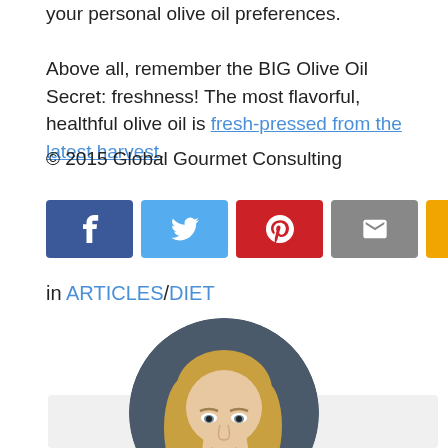your personal olive oil preferences.
Above all, remember the BIG Olive Oil Secret: freshness! The most flavorful, healthful olive oil is fresh-pressed from the latest harvest.
© 2015 Global Gourmet Consulting
[Figure (infographic): Social sharing buttons: Facebook (blue), Twitter (light blue), Pinterest (red), Email (gray), SMS (yellow/orange)]
in ARTICLES/DIET
[Figure (photo): Circular portrait photo of a smiling blonde woman in professional attire, with a gray background card behind her]